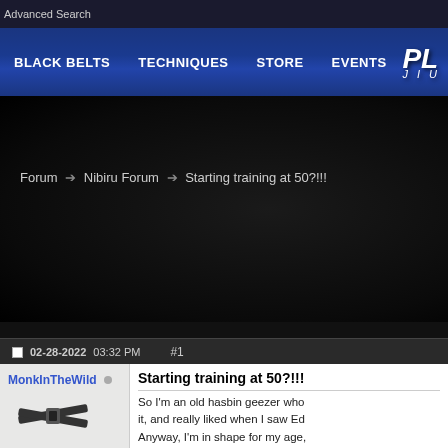Advanced Search
BLACK BELTS  TECHNIQUES  STORE  EVENTS  PL JIU
Forum ➔ Nibiru Forum ➔ Starting training at 50?!!!
02-28-2022 03:32 PM  #1
MonkInTheWild
School: Not yet (seeking)
Posts: 2
Starting training at 50?!!!
So I'm an old hasbin geezer who... it, and really liked when I saw Ed... Anyway, I'm in shape for my age... HUGELY respect 10th planet, bu... - With younger, strong guys, and... - For competition, I don't care ab... geezer categories in competition...